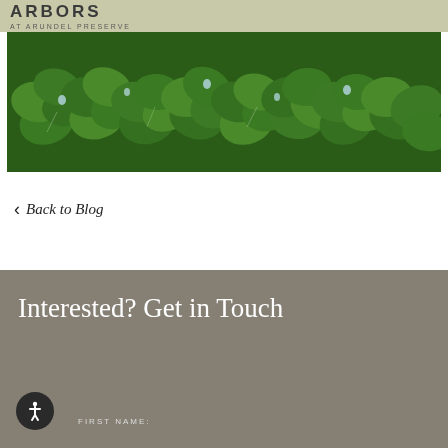ARBORS AT ARUNDEL PRESERVE
[Figure (photo): Close-up photo of green clover leaves with water droplets]
< Back to Blog
Interested? Get in Touch
FIRST NAME: